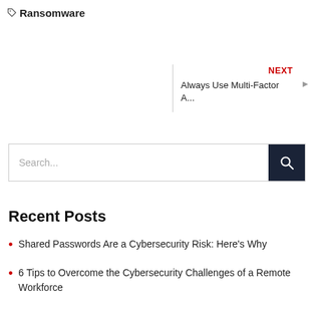Ransomware
NEXT
Always Use Multi-Factor A...
Search...
Recent Posts
Shared Passwords Are a Cybersecurity Risk: Here's Why
6 Tips to Overcome the Cybersecurity Challenges of a Remote Workforce